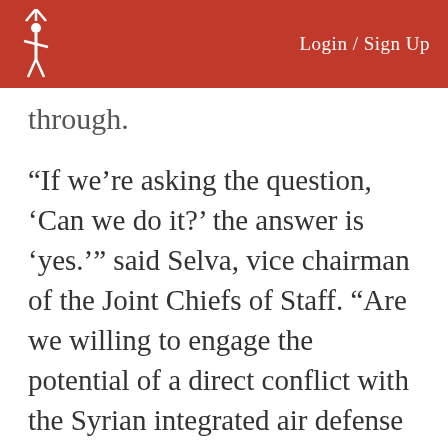Login / Sign Up
through.
“If we’re asking the question, ‘Can we do it?’ the answer is ‘yes.’” said Selva, vice chairman of the Joint Chiefs of Staff. “Are we willing to engage the potential of a direct conflict with the Syrian integrated air defense system or Syrian forces or, by corollary, a confrontation with the Russians, should they